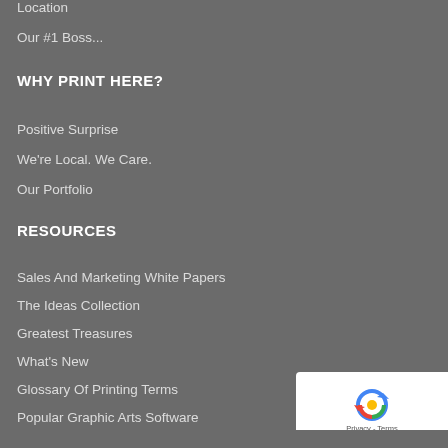Location
Our #1 Boss...
WHY PRINT HERE?
Positive Surprise
We're Local. We Care.
Our Portfolio
RESOURCES
Sales And Marketing White Papers
The Ideas Collection
Greatest Treasures
What's New
Glossary Of Printing Terms
Popular Graphic Arts Software
PLACE AN ORDER
My Account
[Figure (logo): reCAPTCHA badge with circular arrow logo, Privacy and Terms links]